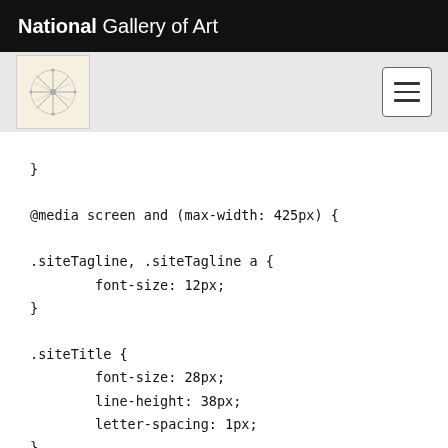National Gallery of Art
[Figure (logo): Sub-navigation bar with a decorative logo/emblem on the left and a hamburger menu button on the right, on a light grey background.]
}

@media screen and (max-width: 425px) {

.siteTagline, .siteTagline a {
        font-size: 12px;
}

.siteTitle {
        font-size: 28px;
        line-height: 38px;
        letter-spacing: 1px;
}

}